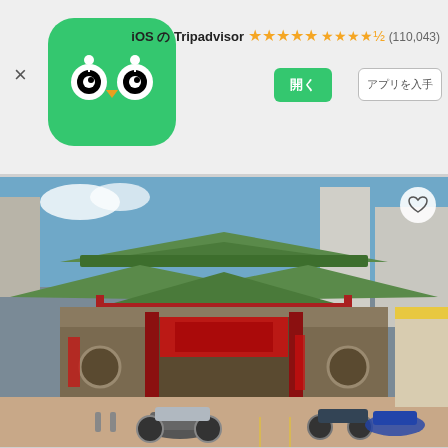iOS の Tripadvisor ★★★★½ (110,043)
[Figure (logo): Tripadvisor owl logo on green rounded square background]
[Figure (photo): Chang Hua Nanyiao Temple exterior showing traditional Chinese temple architecture with green tiled roofs, red decorations, and motorbikes parked in front]
おすすめ
Chang Hua Nanyiao Temple
●●●●◐ 18 件のレビュー
Changhua Cityから 4 件のアクティビティ (￥ 72 から)
[Figure (photo): Partial view of blue sky with clouds, bottom portion of next listing card]